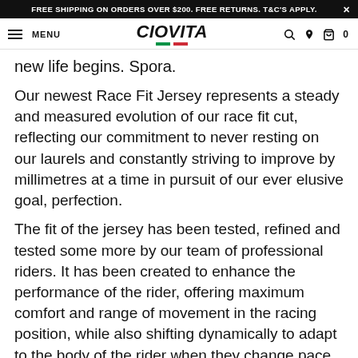FREE SHIPPING ON ORDERS OVER $200. FREE RETURNS. T&C'S APPLY. ×
MENU | CIOVITA | 🔍 📍 🛍 0
new life begins. Spora.
Our newest Race Fit Jersey represents a steady and measured evolution of our race fit cut, reflecting our commitment to never resting on our laurels and constantly striving to improve by millimetres at a time in pursuit of our ever elusive goal, perfection.
The fit of the jersey has been tested, refined and tested some more by our team of professional riders. It has been created to enhance the performance of the rider, offering maximum comfort and range of movement in the racing position, while also shifting dynamically to adapt to the body of the rider when they change pace. The longer back panels and non-slip silicon grippers ensure that jersey is at its most